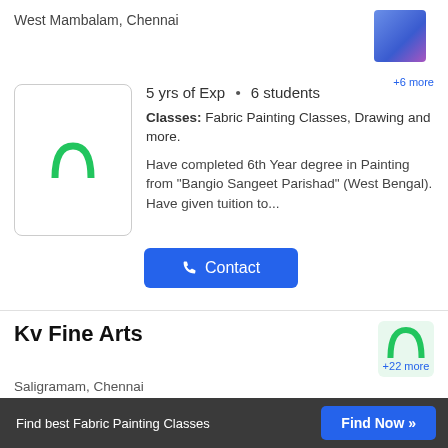West Mambalam, Chennai
5 yrs of Exp • 6 students
Classes: Fabric Painting Classes, Drawing and more.
Have completed 6th Year degree in Painting from "Bangio Sangeet Parishad" (West Bengal). Have given tuition to...
Contact
Kv Fine Arts
Saligramam, Chennai
Classes: Fabric Painting Classes, Drawing
We can teach each and every topics very easily and make it stronger for the students....
Find best Fabric Painting Classes   Find Now »